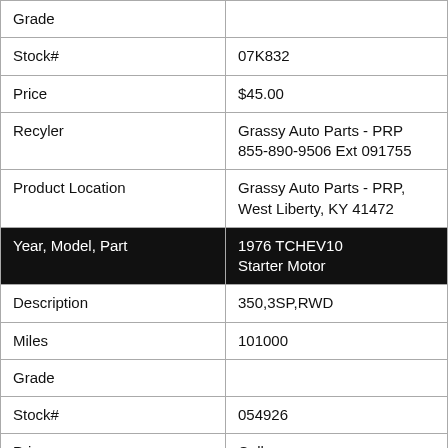| Field | Value |
| --- | --- |
| Grade |  |
| Stock# | 07K832 |
| Price | $45.00 |
| Recyler | Grassy Auto Parts - PRP
855-890-9506 Ext 091755 |
| Product Location | Grassy Auto Parts - PRP, West Liberty, KY 41472 |
| Year, Model, Part | 1976 TCHEV10
Starter Motor |
| Description | 350,3SP,RWD |
| Miles | 101000 |
| Grade |  |
| Stock# | 054926 |
| Price | Call |
| Recyler | Feezle Auto Wrecking
855-889-9345 Ext 963894 |